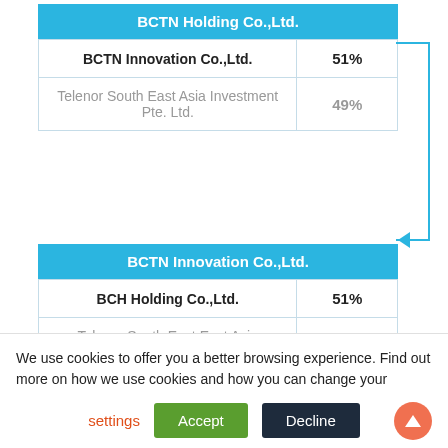[Figure (organizational-chart): Corporate ownership structure diagram showing BCTN Holding Co.,Ltd. owning BCTN Innovation Co.,Ltd. (51%) and Telenor South East Asia Investment Pte. Ltd. (49%), then BCTN Innovation Co.,Ltd. owning BCH Holding Co.,Ltd. (51%) and Telenor South East Asia Investment Pte. Ltd. (49%), and BCH Holding Co.,Ltd. at the bottom.]
We use cookies to offer you a better browsing experience. Find out more on how we use cookies and how you can change your settings Accept Decline